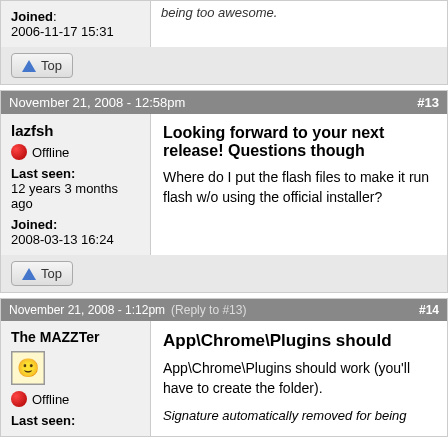Joined: 2006-11-17 15:31
being too awesome.
Top
November 21, 2008 - 12:58pm  #13
lazfsh
Offline
Last seen: 12 years 3 months ago
Joined: 2008-03-13 16:24
Looking forward to your next release! Questions though
Where do I put the flash files to make it run flash w/o using the official installer?
Top
November 21, 2008 - 1:12pm  (Reply to #13)  #14
The MAZZTer
Offline
App\Chrome\Plugins should
App\Chrome\Plugins should work (you'll have to create the folder).
Signature automatically removed for being
Last seen: